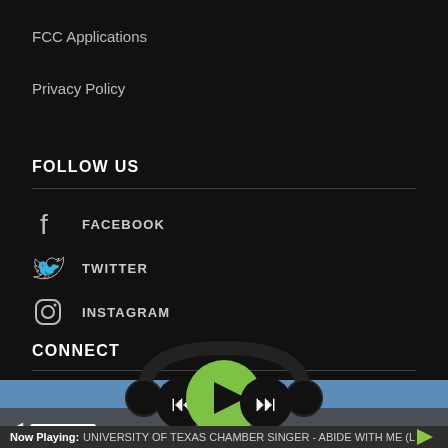FCC Applications
Privacy Policy
FOLLOW US
FACEBOOK
TWITTER
INSTAGRAM
CONNECT
[Figure (screenshot): Media player controls with back, play, and skip buttons. Green play button in center, black back and skip buttons on sides, all overlaid on blue and gray bars.]
Now Playing: UNIVERSITY OF TEXAS CHAMBER SINGER - ABIDE WITH ME (L…